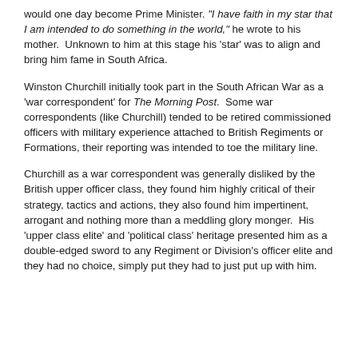would one day become Prime Minister. "I have faith in my star that I am intended to do something in the world," he wrote to his mother. Unknown to him at this stage his 'star' was to align and bring him fame in South Africa.
Winston Churchill initially took part in the South African War as a 'war correspondent' for The Morning Post. Some war correspondents (like Churchill) tended to be retired commissioned officers with military experience attached to British Regiments or Formations, their reporting was intended to toe the military line.
Churchill as a war correspondent was generally disliked by the British upper officer class, they found him highly critical of their strategy, tactics and actions, they also found him impertinent, arrogant and nothing more than a meddling glory monger. His 'upper class elite' and 'political class' heritage presented him as a double-edged sword to any Regiment or Division's officer elite and they had no choice, simply put they had to just put up with him.